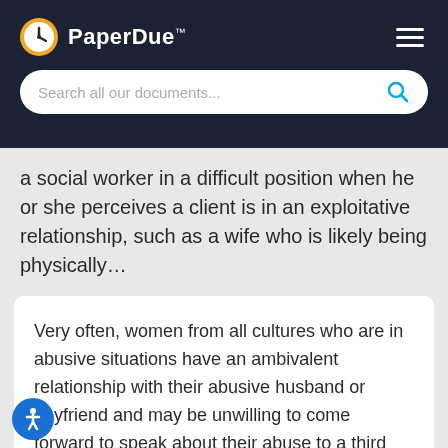PaperDue™
a social worker in a difficult position when he or she perceives a client is in an exploitative relationship, such as a wife who is likely being physically…
Very often, women from all cultures who are in abusive situations have an ambivalent relationship with their abusive husband or boyfriend and may be unwilling to come forward to speak about their abuse to a third party. Even when they do, they may be quick to